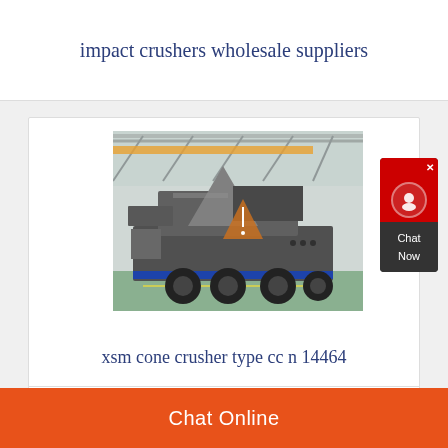impact crushers wholesale suppliers
[Figure (photo): A large mobile cone crusher machine on a wheeled trailer, photographed inside an industrial warehouse/factory with steel roof trusses and an overhead crane visible in the background.]
xsm cone crusher type cc n 14464
Chat Online